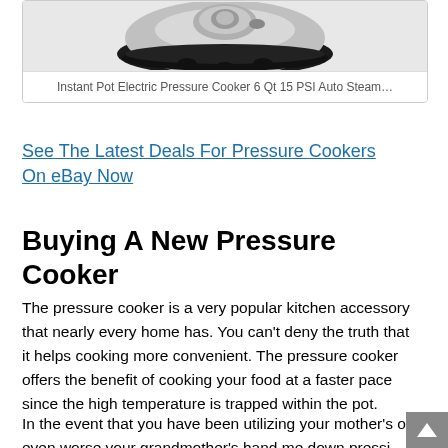[Figure (photo): Top-down photo of an Instant Pot Electric Pressure Cooker lid showing silver metallic surface and black rim, partially cropped at top]
Instant Pot Electric Pressure Cooker 6 Qt 15 PSI Auto Steam…
See The Latest Deals For Pressure Cookers On eBay Now
Buying A New Pressure Cooker
The pressure cooker is a very popular kitchen accessory that nearly every home has. You can't deny the truth that it helps cooking more convenient. The pressure cooker offers the benefit of cooking your food at a faster pace since the high temperature is trapped within the pot.
In the event that you have been utilizing your mother's or even worse your grandmother's hand me down pressi